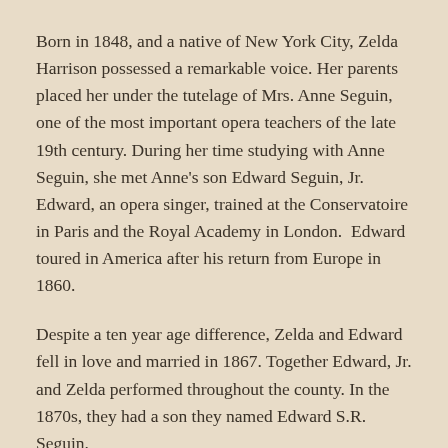Born in 1848, and a native of New York City, Zelda Harrison possessed a remarkable voice. Her parents placed her under the tutelage of Mrs. Anne Seguin, one of the most important opera teachers of the late 19th century. During her time studying with Anne Seguin, she met Anne's son Edward Seguin, Jr. Edward, an opera singer, trained at the Conservatoire in Paris and the Royal Academy in London.  Edward toured in America after his return from Europe in 1860.
Despite a ten year age difference, Zelda and Edward fell in love and married in 1867. Together Edward, Jr. and Zelda performed throughout the county. In the 1870s, they had a son they named Edward S.R. Seguin.